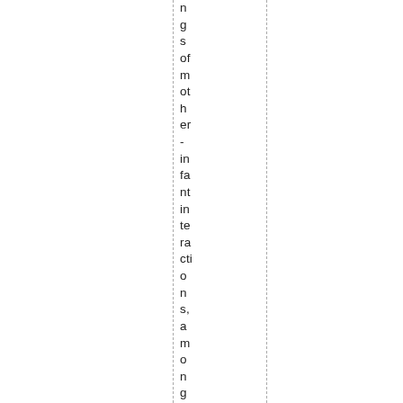ngs of mother-infant interactions, among others of L